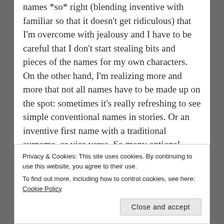names *so* right (blending inventive with familiar so that it doesn't get ridiculous) that I'm overcome with jealousy and I have to be careful that I don't start stealing bits and pieces of the names for my own characters. On the other hand, I'm realizing more and more that not all names have to be made up on the spot: sometimes it's really refreshing to see simple conventional names in stories. Or an inventive first name with a traditional surname, or vice versa. So many options! Looks like you started with a good base in Irish myth–run with it, I say. Celtic lore doesn't get quite as much love as it should, and as a
Privacy & Cookies: This site uses cookies. By continuing to use this website, you agree to their use.
To find out more, including how to control cookies, see here: Cookie Policy
Close and accept